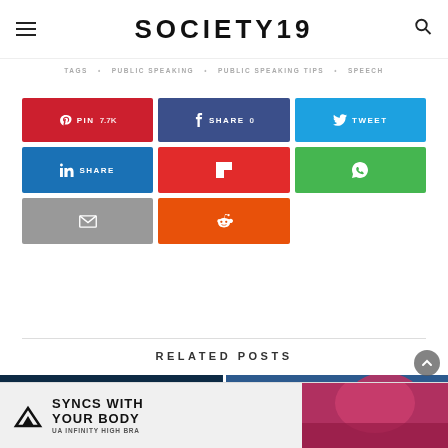SOCIETY19
TAGS   PUBLIC SPEAKING   PUBLIC SPEAKING TIPS   SPEECH
[Figure (infographic): Social sharing buttons grid: Pinterest (PIN 7.7K), Facebook (SHARE 0), Twitter (TWEET), LinkedIn (SHARE), Flipboard, WhatsApp, Email, Reddit]
RELATED POSTS
[Figure (photo): Two related post thumbnail images at bottom]
[Figure (infographic): Under Armour advertisement banner: SYNCS WITH YOUR BODY - UA INFINITY HIGH BRA]